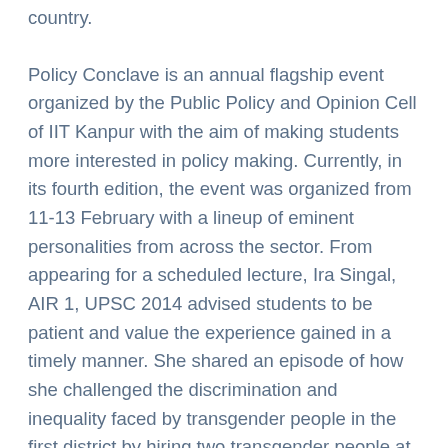country.
Policy Conclave is an annual flagship event organized by the Public Policy and Opinion Cell of IIT Kanpur with the aim of making students more interested in policy making. Currently, in its fourth edition, the event was organized from 11-13 February with a lineup of eminent personalities from across the sector. From appearing for a scheduled lecture, Ira Singal, AIR 1, UPSC 2014 advised students to be patient and value the experience gained in a timely manner. She shared an episode of how she challenged the discrimination and inequality faced by transgender people in the first district by hiring two transgender people at the receptionist desk. He described it as his greatest achievement.